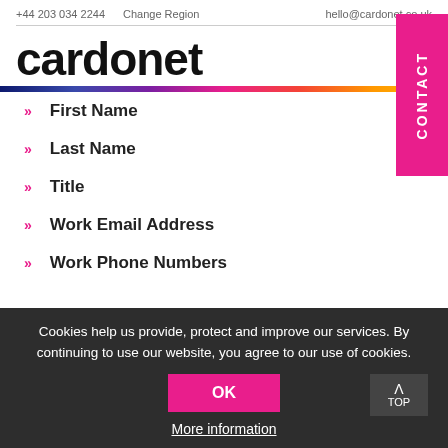+44 203 034 2244   Change Region   hello@cardonet.co.uk
cardonet
[Figure (other): Hamburger menu icon with three horizontal purple lines]
[Figure (other): Rainbow gradient horizontal bar transitioning from dark blue to purple to pink to orange to yellow]
[Figure (other): Pink vertical CONTACT tab on right side]
First Name
Last Name
Title
Work Email Address
Work Phone Numbers
Cookies help us provide, protect and improve our services. By continuing to use our website, you agree to our use of cookies.
OK
More information